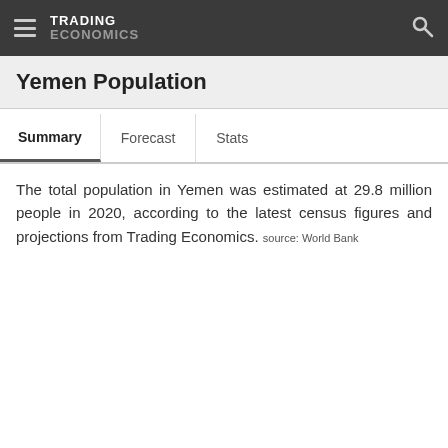TRADING ECONOMICS
Yemen Population
Summary   Forecast   Stats
The total population in Yemen was estimated at 29.8 million people in 2020, according to the latest census figures and projections from Trading Economics. source: World Bank